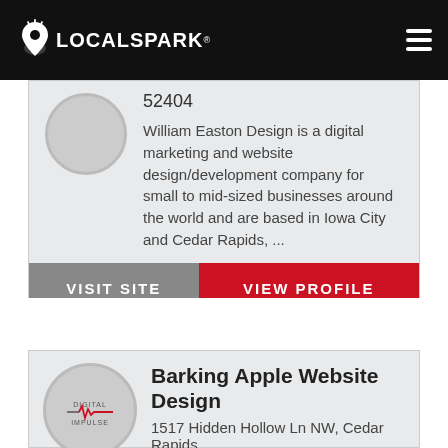LOCALSPARK
52404
William Easton Design is a digital marketing and website design/development company for small to mid-sized businesses around the world and are based in Iowa City and Cedar Rapids, ...
VISIT SITE
VIEW PROFILE
Barking Apple Website Design
1517 Hidden Hollow Ln NW, Cedar Rapids,